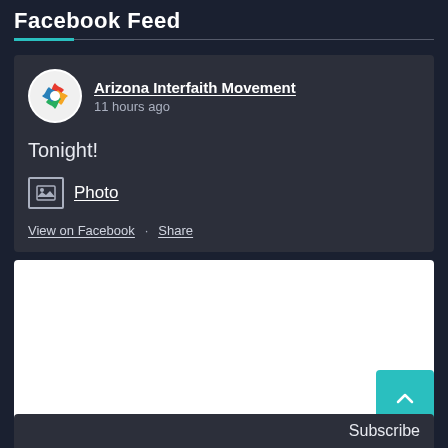Facebook Feed
[Figure (screenshot): Facebook post from Arizona Interfaith Movement showing post header with avatar, org name, timestamp '11 hours ago', post text 'Tonight!', a Photo link with image icon, and View on Facebook and Share action links. Below is a white image placeholder area.]
Subscribe